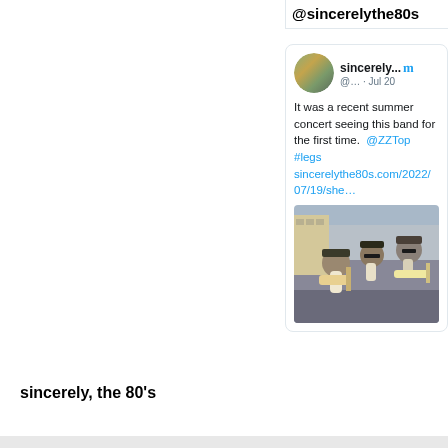@sincerelythe80s
[Figure (screenshot): Tweet from sincerely... (@...) on Jul 20. Text: 'It was a recent summer concert seeing this band for the first time. @ZZTop #legs sincerelythe80s.com/2022/07/19/she…' with a photo of ZZ Top band members with long beards playing guitars on a street.]
sincerely, the 80's